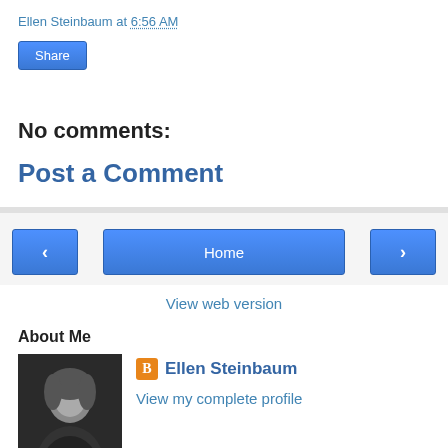Ellen Steinbaum at 6:56 AM
Share
No comments:
Post a Comment
‹   Home   ›
View web version
About Me
[Figure (photo): Black and white portrait photo of Ellen Steinbaum]
Ellen Steinbaum
View my complete profile
Powered by Blogger.